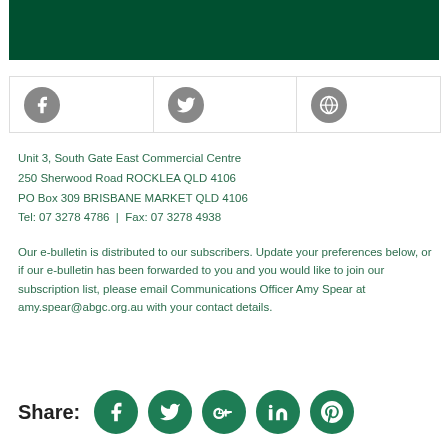[Figure (illustration): Dark green banner/header image at top of page]
[Figure (infographic): Row of three social media icon circles (Facebook, Twitter, Globe/share) in a bordered three-cell row]
Unit 3, South Gate East Commercial Centre
250 Sherwood Road ROCKLEA QLD 4106
PO Box 309 BRISBANE MARKET QLD 4106
Tel: 07 3278 4786 | Fax: 07 3278 4938
Our e-bulletin is distributed to our subscribers. Update your preferences below, or if our e-bulletin has been forwarded to you and you would like to join our subscription list, please email Communications Officer Amy Spear at amy.spear@abgc.org.au with your contact details.
Share:
[Figure (infographic): Row of five circular social share buttons: Facebook, Twitter, Google+, LinkedIn, Pinterest]